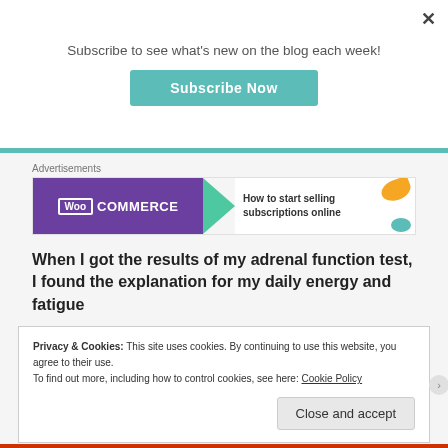Subscribe to see what's new on the blog each week!
[Figure (other): Subscribe Now button — teal/green rounded rectangle with white bold text]
Advertisements
[Figure (other): WooCommerce advertisement banner: purple left half with WooCommerce logo, green arrow, white right half with text 'How to start selling subscriptions online']
When I got the results of my adrenal function test, I found the explanation for my daily energy and fatigue
Privacy & Cookies: This site uses cookies. By continuing to use this website, you agree to their use.
To find out more, including how to control cookies, see here: Cookie Policy
Close and accept